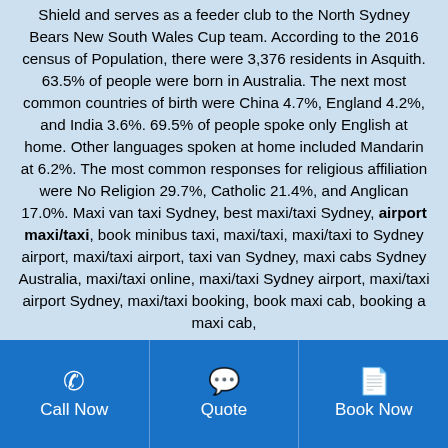Shield and serves as a feeder club to the North Sydney Bears New South Wales Cup team. According to the 2016 census of Population, there were 3,376 residents in Asquith. 63.5% of people were born in Australia. The next most common countries of birth were China 4.7%, England 4.2%, and India 3.6%. 69.5% of people spoke only English at home. Other languages spoken at home included Mandarin at 6.2%. The most common responses for religious affiliation were No Religion 29.7%, Catholic 21.4%, and Anglican 17.0%. Maxi van taxi Sydney, best maxi/taxi Sydney, airport maxi/taxi, book minibus taxi, maxi/taxi, maxi/taxi to Sydney airport, maxi/taxi airport, taxi van Sydney, maxi cabs Sydney Australia, maxi/taxi online, maxi/taxi Sydney airport, maxi/taxi airport Sydney, maxi/taxi booking, book maxi cab, booking a maxi cab,
Call Now | Quote | Book Now